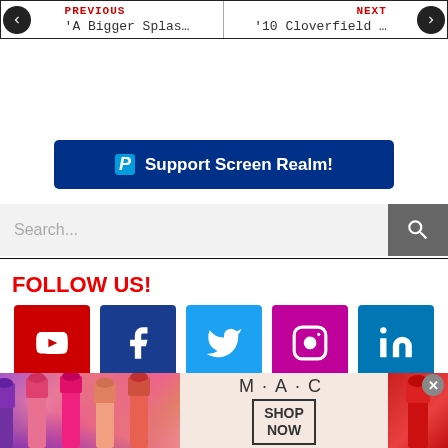[Figure (infographic): Previous/Next navigation bar with left arrow, 'PREVIOUS' label in red, title 'A Bigger Splas...' and right side 'NEXT' label in red, title '10 Cloverfield ...' with right arrow]
[Figure (infographic): PayPal 'Support Screen Realm!' button with PayPal P logo in blue]
[Figure (infographic): Search bar with placeholder text 'Search...' and a grey search icon button on the right]
FOLLOW US!
[Figure (infographic): Row of 5 social media icons: YouTube (red), Facebook (dark blue), Twitter (light blue), Instagram (magenta), LinkedIn (blue)]
[Figure (infographic): MAC cosmetics advertisement banner with lipstick images, MAC logo, and SHOP NOW button]